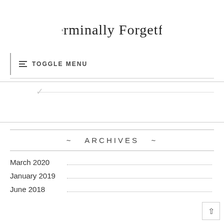Terminally Forgetful
≡  TOGGLE MENU
~ ARCHIVES ~
March 2020
January 2019
June 2018